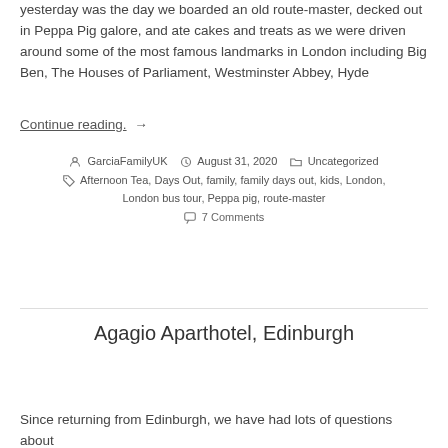yesterday was a day we won't forget in a hurry. That's because yesterday was the day we boarded an old route-master, decked out in Peppa Pig galore, and ate cakes and treats as we were driven around some of the most famous landmarks in London including Big Ben, The Houses of Parliament, Westminster Abbey, Hyde
Continue reading. →
By GarciaFamilyUK  August 31, 2020  Uncategorized  Tags: Afternoon Tea, Days Out, family, family days out, kids, London, London bus tour, Peppa pig, route-master  7 Comments
Agagio Aparthotel, Edinburgh
Since returning from Edinburgh, we have had lots of questions about